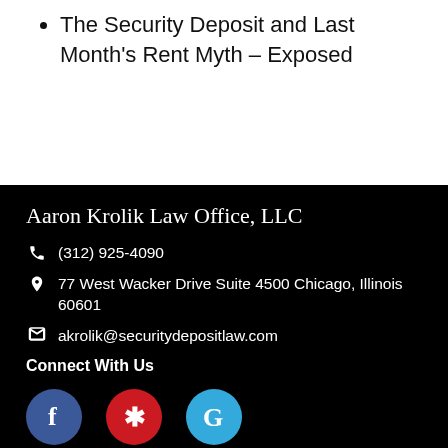The Security Deposit and Last Month's Rent Myth – Exposed
Aaron Krolik Law Office, LLC
(312) 925-4090
77 West Wacker Drive Suite 4500 Chicago, Illinois 60601
akrolik@securitydepositlaw.com
Connect With Us
[Figure (logo): Facebook, Yelp, and Google social media icon circles]